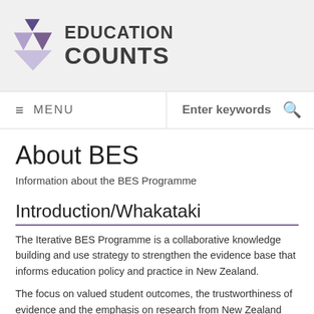[Figure (logo): Education Counts logo with purple triangle/diamond geometric shapes and bold text 'EDUCATION COUNTS']
≡ MENU   Enter keywords 🔍
About BES
Information about the BES Programme
Introduction/Whakataki
The Iterative BES Programme is a collaborative knowledge building and use strategy to strengthen the evidence base that informs education policy and practice in New Zealand.
The focus on valued student outcomes, the trustworthiness of evidence and the emphasis on research from New Zealand are